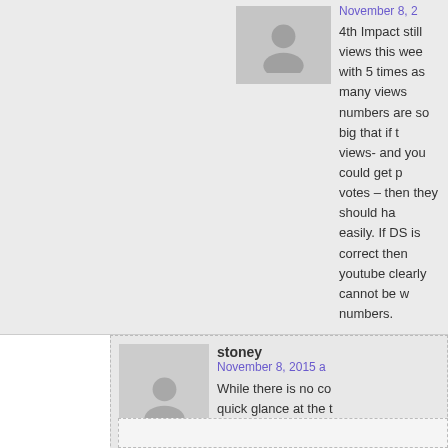4th Impact still views this week with 5 times as many views numbers are so big that if t views- and you could get p votes – then they should ha easily. If DS is correct then youtube clearly cannot be w numbers.
stoney
November 8, 2015 a
While there is no co quick glance at the t percentages on telemix show yo flooding the polls and distorting t
Martin
November 8, 2015 at 3:45 pm
Did anyone notice Seann's Ph the woodwork this week, too? a parents also suddenly appearing!